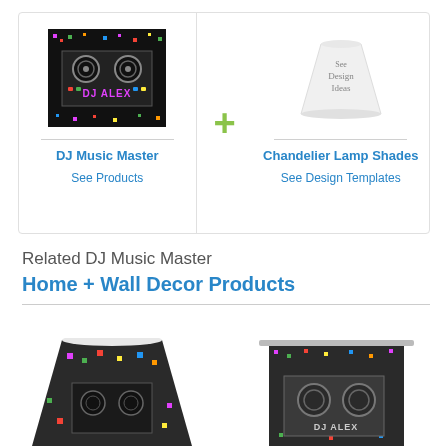[Figure (other): DJ Music Master product image - colorful DJ controller on black background with text 'DJ ALEX']
DJ Music Master
See Products
[Figure (other): Chandelier lamp shade product image showing white lamp shade with 'See Design Ideas' text]
Chandelier Lamp Shades
See Design Templates
Related DJ Music Master
Home + Wall Decor Products
[Figure (other): Lamp shade with DJ Music Master colorful design print]
[Figure (other): Curtain/roller shade with DJ Alex design print]